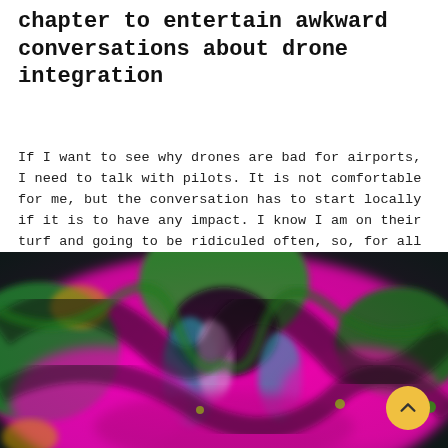chapter to entertain awkward conversations about drone integration
If I want to see why drones are bad for airports, I need to talk with pilots. It is not comfortable for me, but the conversation has to start locally if it is to have any impact. I know I am on their turf and going to be ridiculed often, so, for all you drone pilots out there who want to learn from my mistakes and missteps...
[Figure (photo): A colorful abstract swirling image with dominant magenta/pink, green, teal/cyan, and black tones resembling a psychedelic or digitally manipulated flower photograph. A yellow circular scroll-to-top button is overlaid in the bottom right corner.]